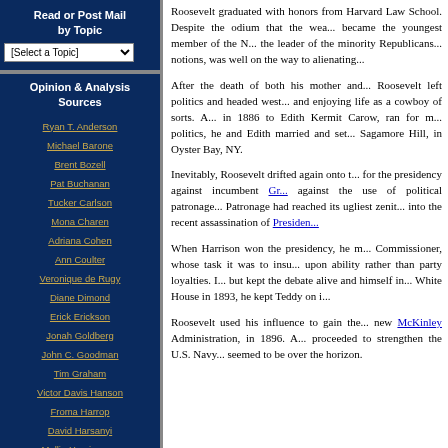Read or Post Mail by Topic
[Select a Topic]
Opinion & Analysis Sources
Ryan T. Anderson
Michael Barone
Brent Bozell
Pat Buchanan
Tucker Carlson
Mona Charen
Adriana Cohen
Ann Coulter
Veronique de Rugy
Diane Dimond
Erick Erickson
Jonah Goldberg
John C. Goodman
Tim Graham
Victor Davis Hanson
Froma Harrop
David Harsanyi
Mollie Hemingway
Laura Hollis
Jeff Jacoby
Kay C. James
Rich Lowry
Heather Mac Donald
Michelle Malkin
Mychal Massie
Betsy McCaughey
Stephen Moore
William Murchison
Roosevelt graduated with honors from Harvard Law School. Despite the odium that the wealth... became the youngest member of the N... the leader of the minority Republicans... notions, was well on the way to alienating...
After the death of both his mother and... Roosevelt left politics and headed west... and enjoying life as a cowboy of sorts. A... in 1886 to Edith Kermit Carow, ran for m... politics, he and Edith married and set... Sagamore Hill, in Oyster Bay, NY.
Inevitably, Roosevelt drifted again onto the... for the presidency against incumbent Gr... against the use of political patronage... Patronage had reached its ugliest zenit... into the recent assassination of Presiden...
When Harrison won the presidency, he n... Commissioner, whose task it was to insu... upon ability rather than party loyalties. I... but kept the debate alive and himself in... White House in 1893, he kept Teddy on i...
Roosevelt used his influence to gain the... new McKinley Administration, in 1896. A... proceeded to strengthen the U.S. Navy... seemed to be over the horizon.